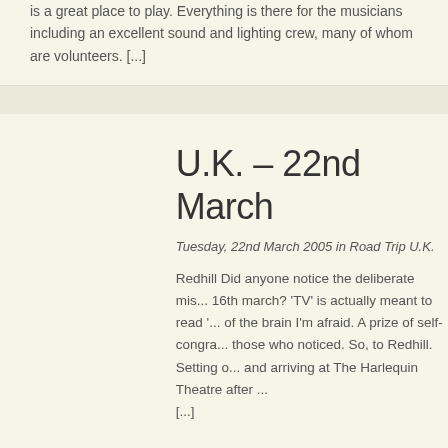is a great place to play. Everything is there for the musicians including an excellent sound and lighting crew, many of whom are volunteers. [...]
U.K. – 22nd March
Tuesday, 22nd March 2005 in Road Trip U.K.
Redhill Did anyone notice the deliberate mis... 16th march? 'TV' is actually meant to read '... of the brain I'm afraid. A prize of self-congra... those who noticed. So, to Redhill. Setting o... and arriving at The Harlequin Theatre after ... [...]